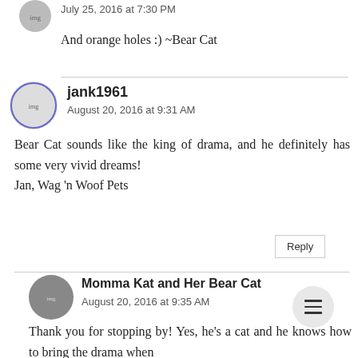July 25, 2016 at 7:30 PM
And orange holes :) ~Bear Cat
jank1961
August 20, 2016 at 9:31 AM
Bear Cat sounds like the king of drama, and he definitely has some very vivid dreams!
Jan, Wag 'n Woof Pets
Momma Kat and Her Bear Cat
August 20, 2016 at 9:35 AM
Thank you for stopping by! Yes, he's a cat and he knows how to bring the drama when